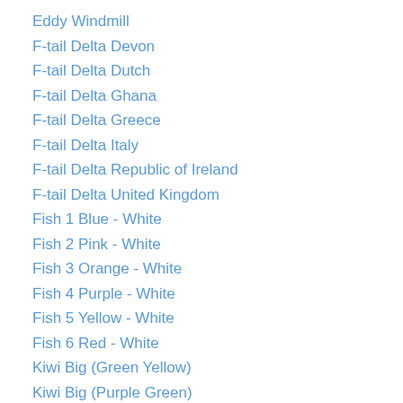Eddy Windmill
F-tail Delta Devon
F-tail Delta Dutch
F-tail Delta Ghana
F-tail Delta Greece
F-tail Delta Italy
F-tail Delta Republic of Ireland
F-tail Delta United Kingdom
Fish 1 Blue - White
Fish 2 Pink - White
Fish 3 Orange - White
Fish 4 Purple - White
Fish 5 Yellow - White
Fish 6 Red - White
Kiwi Big (Green Yellow)
Kiwi Big (Purple Green)
Mirevo 1.5 (Joost)
NPW5 lk=175-Dakar
NPW5 lk=175-Jeroen
NPW5 lk=175-Joost